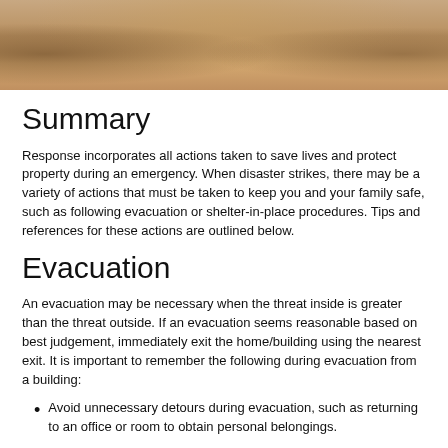[Figure (photo): Photo banner showing hands and a warm sandy/wooden background, cropped at top of page]
Summary
Response incorporates all actions taken to save lives and protect property during an emergency. When disaster strikes, there may be a variety of actions that must be taken to keep you and your family safe, such as following evacuation or shelter-in-place procedures. Tips and references for these actions are outlined below.
Evacuation
An evacuation may be necessary when the threat inside is greater than the threat outside. If an evacuation seems reasonable based on best judgement, immediately exit the home/building using the nearest exit. It is important to remember the following during evacuation from a building:
Avoid unnecessary detours during evacuation, such as returning to an office or room to obtain personal belongings.